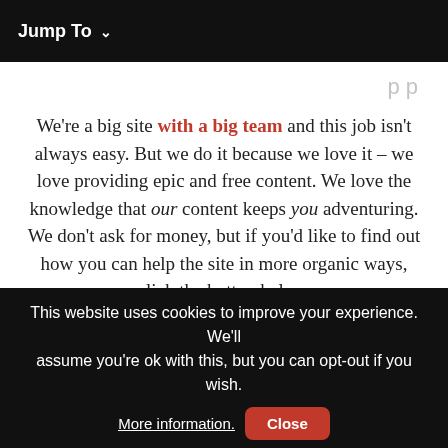Jump To
We're a big site with a big team and this job isn't always easy. But we do it because we love it – we love providing epic and free content. We love the knowledge that our content keeps you adventuring. We don't ask for money, but if you'd like to find out how you can help the site in more organic ways, click the button below. Thank you for your support 🙏
[Figure (other): Red rounded button labeled 'Support the Site']
This website uses cookies to improve your experience. We'll assume you're ok with this, but you can opt-out if you wish. More information. Close